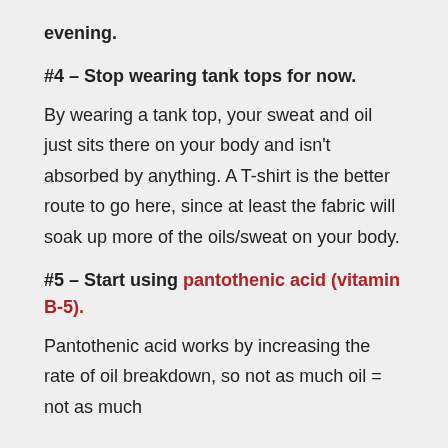evening.
#4 – Stop wearing tank tops for now.
By wearing a tank top, your sweat and oil just sits there on your body and isn't absorbed by anything. A T-shirt is the better route to go here, since at least the fabric will soak up more of the oils/sweat on your body.
#5 – Start using pantothenic acid (vitamin B-5).
Pantothenic acid works by increasing the rate of oil breakdown, so not as much oil = not as much